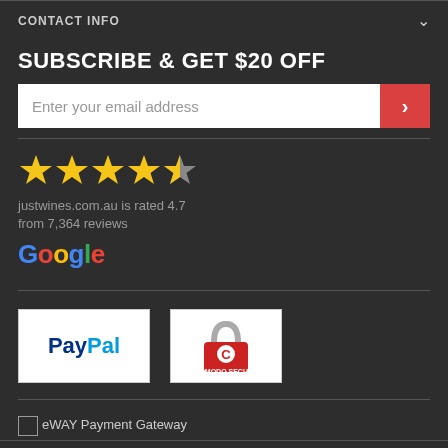CONTACT INFO
SUBSCRIBE & GET $20 OFF
Enter your email address
[Figure (other): Five star rating with 4.5 stars highlighted in gold]
justwines.com.au is rated 4.7 from 7,364 reviews
[Figure (logo): Google logo in multicolor text]
[Figure (logo): PayPal logo white background]
[Figure (logo): Comodo Secure badge with padlock]
eWAY Payment Gateway
Explore More Wines -